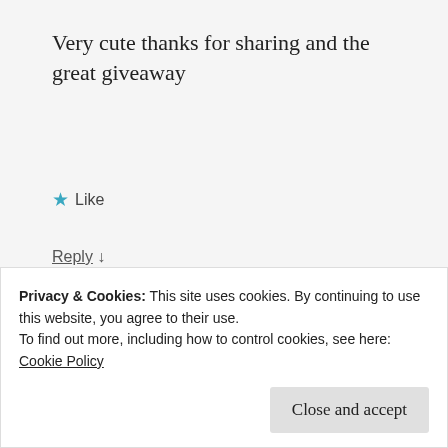Very cute thanks for sharing and the great giveaway
★ Like
Reply ↓
[Figure (logo): Ms.P Designs logo — square with rounded corners, text 'Ms.P' on top and '.Designs' below]
mspdesignsusa
October 23, 2018 at 11:44 am
Privacy & Cookies: This site uses cookies. By continuing to use this website, you agree to their use.
To find out more, including how to control cookies, see here: Cookie Policy
Close and accept